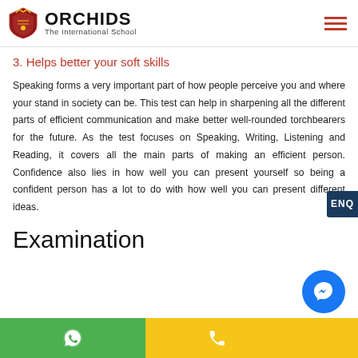ORCHIDS The International School
3. Helps better your soft skills
Speaking forms a very important part of how people perceive you and where your stand in society can be. This test can help in sharpening all the different parts of efficient communication and make better well-rounded torchbearers for the future. As the test focuses on Speaking, Writing, Listening and Reading, it covers all the main parts of making an efficient person. Confidence also lies in how well you can present yourself so being a confident person has a lot to do with how well you can present different ideas.
Examination